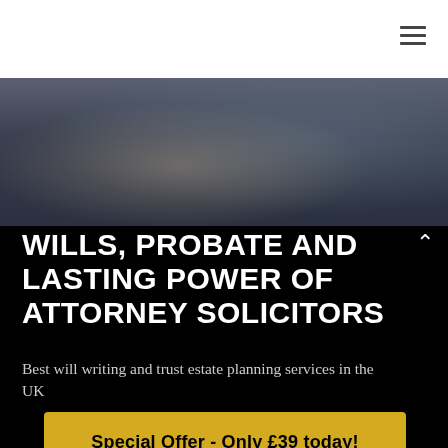[Figure (photo): Blurred close-up photo of a person in a suit, suggesting a professional legal context]
WILLS, PROBATE AND LASTING POWER OF ATTORNEY SOLICITORS
Best will writing and trust estate planning services in the UK
Special Offer - Only £39 today! (Click Here)